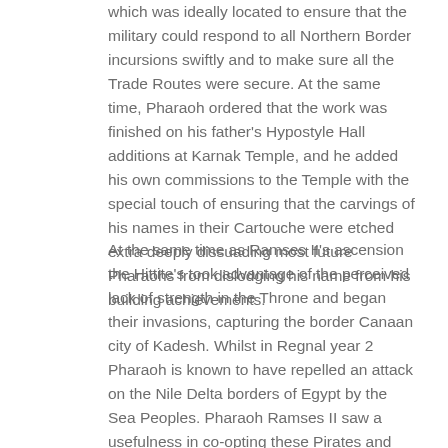which was ideally located to ensure that the military could respond to all Northern Border incursions swiftly and to make sure all the Trade Routes were secure. At the same time, Pharaoh ordered that the work was finished on his father's Hypostyle Hall additions at Karnak Temple, and he added his own commissions to the Temple with the special touch of ensuring that the carvings of his names in their Cartouche were etched extra deeply dissuading most future Pharaohs from dislodging his name from his building achievements.
At the same time as Ramses II's ascension the Hittite's took advantage of the perceived lack of strength in the Throne and began their invasions, capturing the border Canaan city of Kadesh. Whilst in Regnal year 2 Pharaoh is known to have repelled an attack on the Nile Delta borders of Egypt by the Sea Peoples. Pharaoh Ramses II saw a usefulness in co-opting these Pirates and bound them into the